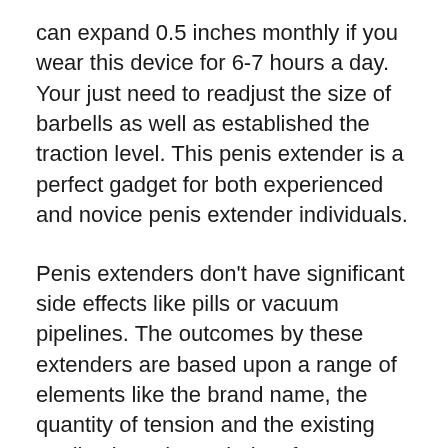can expand 0.5 inches monthly if you wear this device for 6-7 hours a day. Your just need to readjust the size of barbells as well as established the traction level. This penis extender is a perfect gadget for both experienced and novice penis extender individuals.
Penis extenders don't have significant side effects like pills or vacuum pipelines. The outcomes by these extenders are based upon a range of elements like the brand name, the quantity of tension and the existing penile size. The majority of users discover visible results in the first month of use. Expect one-inch increase in your penis's length after acquiring a penis extender.